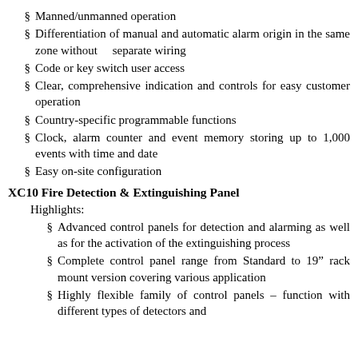Manned/unmanned operation
Differentiation of manual and automatic alarm origin in the same zone without     separate wiring
Code or key switch user access
Clear, comprehensive indication and controls for easy customer operation
Country-specific programmable functions
Clock, alarm counter and event memory storing up to 1,000 events with time and date
Easy on-site configuration
XC10 Fire Detection & Extinguishing Panel
Highlights:
Advanced control panels for detection and alarming as well as for the activation of the extinguishing process
Complete control panel range from Standard to 19" rack mount version covering various application
Highly flexible family of control panels – function with different types of detectors and